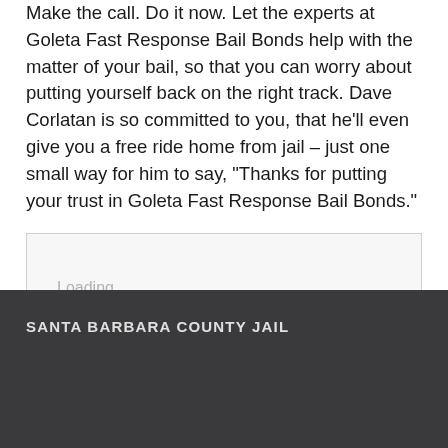Make the call. Do it now. Let the experts at Goleta Fast Response Bail Bonds help with the matter of your bail, so that you can worry about putting yourself back on the right track. Dave Corlatan is so committed to you, that he'll even give you a free ride home from jail – just one small way for him to say, "Thanks for putting your trust in Goleta Fast Response Bail Bonds."
[Figure (other): Loading placeholder box with 'Loading...' text]
SANTA BARBARA COUNTY JAIL